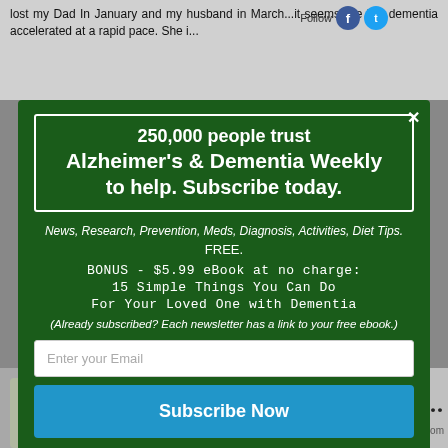lost my Dad In January and my husband in March...it seems like her dementia accelerated at a rapid pace. She i...
250,000 people trust Alzheimer's & Dementia Weekly to help. Subscribe today.
News, Research, Prevention, Meds, Diagnosis, Activities, Diet Tips. FREE.
BONUS - $5.99 eBook at no charge: 15 Simple Things You Can Do For Your Loved One with Dementia
(Already subscribed? Each newsletter has a link to your free ebook.)
Enter your Email
Subscribe Now
Coconut Oil...
alzheimersweekly.com
AddThis
SUMO